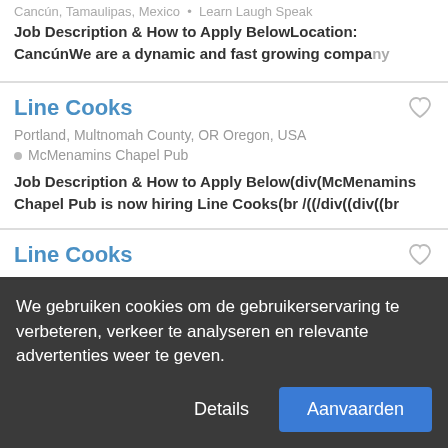Cancún, Tamaulipas, Mexico • Learn Laugh Speak
Job Description & How to Apply BelowLocation: CancúnWe are a dynamic and fast growing company
Line Cooks
Portland, Multnomah County, OR Oregon, USA
• McMenamins Chapel Pub
Job Description & How to Apply Below(div(McMenamins Chapel Pub is now hiring Line Cooks(br /((/div((div((br
Line Cooks
Seattle, King County, WA Washington, USA
• McMenamins Six Arms
Job Description & How to Apply BelowPosition:
We gebruiken cookies om de gebruikerservaring te verbeteren, verkeer te analyseren en relevante advertenties weer te geven.